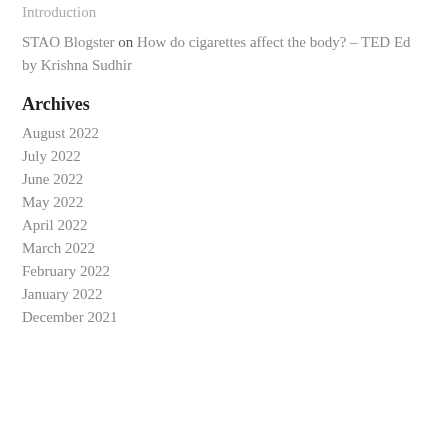Introduction
STAO Blogster on How do cigarettes affect the body? – TED Ed by Krishna Sudhir
Archives
August 2022
July 2022
June 2022
May 2022
April 2022
March 2022
February 2022
January 2022
December 2021